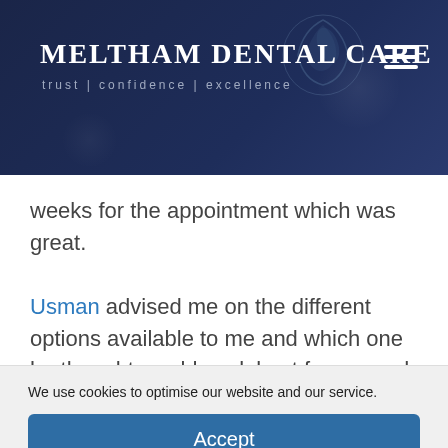[Figure (logo): Meltham Dental Care logo with dark navy header background, decorative swirl, and hamburger menu icon. Tagline: trust | confidence | excellence]
weeks for the appointment which was great. Usman advised me on the different options available to me and which one he thought would work best for me and what I wanted to achieve
We use cookies to optimise our website and our service.
Accept
Preferences
Cookie Policy   Website Privacy Notice